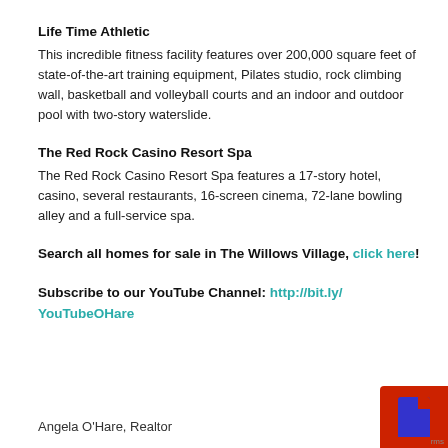Life Time Athletic
This incredible fitness facility features over 200,000 square feet of state-of-the-art training equipment, Pilates studio, rock climbing wall, basketball and volleyball courts and an indoor and outdoor pool with two-story waterslide.
The Red Rock Casino Resort Spa
The Red Rock Casino Resort Spa features a 17-story hotel, casino, several restaurants, 16-screen cinema, 72-lane bowling alley and a full-service spa.
Search all homes for sale in The Willows Village, click here!
Subscribe to our YouTube Channel: http://bit.ly/YouTubeOHare
Angela O'Hare, Realtor